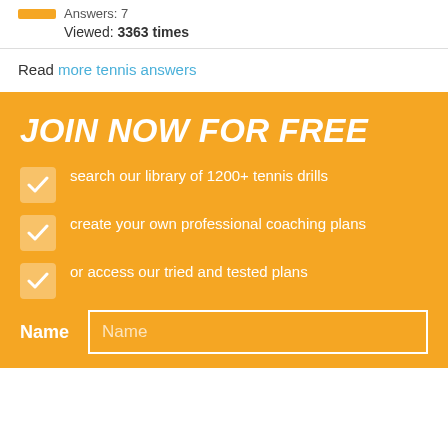Answers: 7
Viewed: 3363 times
Read more tennis answers
JOIN NOW FOR FREE
search our library of 1200+ tennis drills
create your own professional coaching plans
or access our tried and tested plans
Name